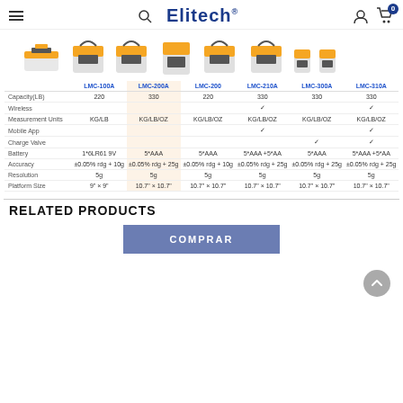Elitech® — navigation header with menu, search, user and cart icons
[Figure (photo): Row of six orange/grey Elitech LMC refrigerant scale product images]
|  | LMC-100A | LMC-200A | LMC-200 | LMC-210A | LMC-300A | LMC-310A |
| --- | --- | --- | --- | --- | --- | --- |
| Capacity(LB) | 220 | 330 | 220 | 330 | 330 | 330 |
| Wireless |  |  |  | ✓ |  | ✓ |
| Measurement Units | KG/LB | KG/LB/OZ | KG/LB/OZ | KG/LB/OZ | KG/LB/OZ | KG/LB/OZ |
| Mobile App |  |  |  | ✓ |  | ✓ |
| Charge Valve |  |  |  |  | ✓ | ✓ |
| Battery | 1*6LR61 9V | 5*AAA | 5*AAA | 5*AAA +5*AA | 5*AAA | 5*AAA +5*AA |
| Accuracy | ±0.05% rdg + 10g | ±0.05% rdg + 25g | ±0.05% rdg + 10g | ±0.05% rdg + 25g | ±0.05% rdg + 25g | ±0.05% rdg + 25g |
| Resolution | 5g | 5g | 5g | 5g | 5g | 5g |
| Platform Size | 9" × 9" | 10.7" × 10.7" | 10.7" × 10.7" | 10.7" × 10.7" | 10.7" × 10.7" | 10.7" × 10.7" |
RELATED PRODUCTS
COMPRAR